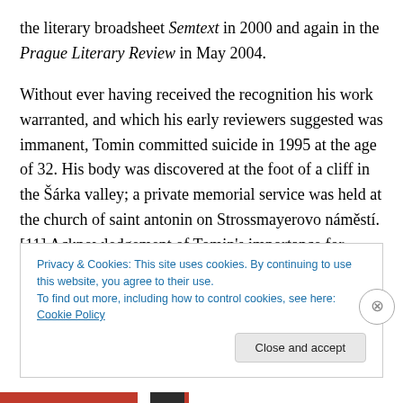the literary broadsheet Semtext in 2000 and again in the Prague Literary Review in May 2004.

Without ever having received the recognition his work warranted, and which his early reviewers suggested was immanent, Tomin committed suicide in 1995 at the age of 32. His body was discovered at the foot of a cliff in the Šárka valley; a private memorial service was held at the church of saint antonin on Strossmayerovo náměstí.[11] Acknowledgement of Tomin's importance for Prague's post-'89 renaissance (the reinstatement of the city as one
Privacy & Cookies: This site uses cookies. By continuing to use this website, you agree to their use.
To find out more, including how to control cookies, see here: Cookie Policy